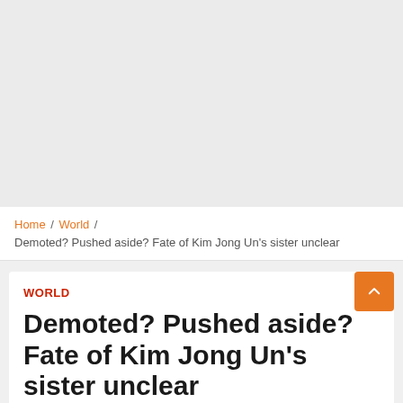[Figure (other): Gray advertisement placeholder area]
Home / World /
Demoted? Pushed aside? Fate of Kim Jong Un's sister unclear
WORLD
Demoted? Pushed aside? Fate of Kim Jong Un's sister unclear